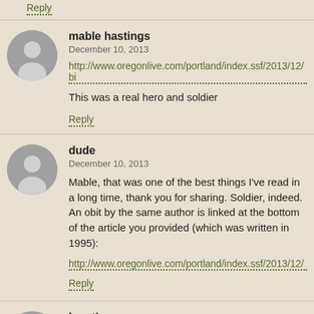Reply
mable hastings
December 10, 2013
http://www.oregonlive.com/portland/index.ssf/2013/12/bi
This was a real hero and soldier
Reply
dude
December 10, 2013
Mable, that was one of the best things I've read in a long time, thank you for sharing. Soldier, indeed. An obit by the same author is linked at the bottom of the article you provided (which was written in 1995):
http://www.oregonlive.com/portland/index.ssf/2013/12/
Reply
Ignatious
December 10, 2013